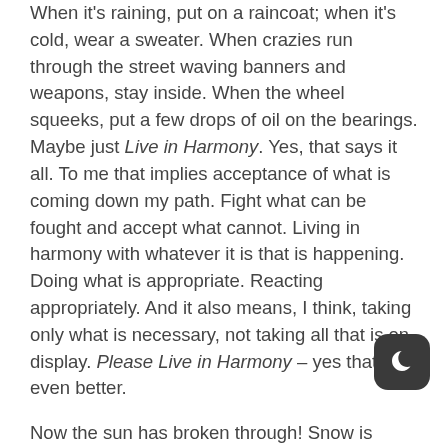When it's raining, put on a raincoat; when it's cold, wear a sweater. When crazies run through the street waving banners and weapons, stay inside. When the wheel squeeks, put a few drops of oil on the bearings. Maybe just Live in Harmony. Yes, that says it all. To me that implies acceptance of what is coming down my path. Fight what can be fought and accept what cannot. Living in harmony with whatever it is that is happening. Doing what is appropriate. Reacting appropriately. And it also means, I think, taking only what is necessary, not taking all that is on display. Please Live in Harmony – yes that's even better.
Now the sun has broken through! Snow is evaporating, and it looks like steam rising from the ground. The sky is blue, the snow-covered ground a brilliant white. The days are becoming longer again. Happy solstice, happy holidays!
For Boston.com's selection of snowy seasonal photos